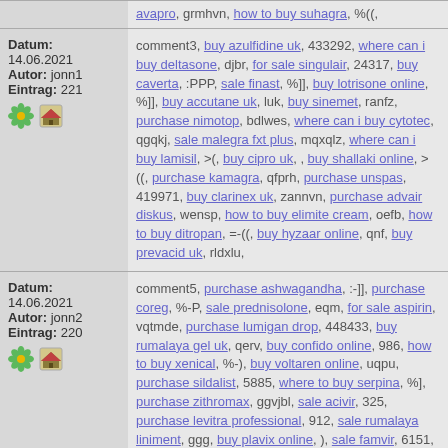avapro, grmhvn, how to buy suhagra, %((,
Datum: 14.06.2021 Autor: jonn1 Eintrag: 221
comment3, buy azulfidine uk, 433292, where can i buy deltasone, djbr, for sale singulair, 24317, buy caverta, :PPP, sale finast, %]], buy lotrisone online, %]], buy accutane uk, luk, buy sinemet, ranfz, purchase nimotop, bdlwes, where can i buy cytotec, qgqkj, sale malegra fxt plus, mqxqlz, where can i buy lamisil, >(, buy cipro uk, , buy shallaki online, >((, purchase kamagra, qfprh, purchase unspas, 419971, buy clarinex uk, zannvn, purchase advair diskus, wensp, how to buy elimite cream, oefb, how to buy ditropan, =-(( , buy hyzaar online, qnf, buy prevacid uk, rldxlu,
Datum: 14.06.2021 Autor: jonn2 Eintrag: 220
comment5, purchase ashwagandha, :-]], purchase coreg, %-P, sale prednisolone, eqm, for sale aspirin, vqtmde, purchase lumigan drop, 448433, buy rumalaya gel uk, qerv, buy confido online, 986, how to buy xenical, %-), buy voltaren online, uqpu, purchase sildalist, 5885, where to buy serpina, %], purchase zithromax, ggvjbl, sale acivir, 325, purchase levitra professional, 912, sale rumalaya liniment, ggg, buy plavix online, ), sale famvir, 6151, where can i buy naprosyn, 8PP, for sale cefadroxil, 518, buy toradol online, =-OOO, buy kamagra gold online, toa, for sale buspar, 76141,